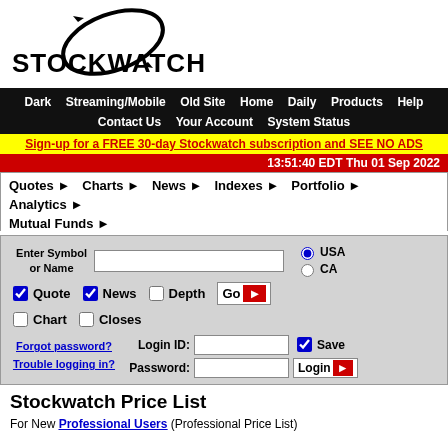[Figure (logo): Stockwatch logo with orbital ring graphic and bold STOCKWATCH text]
Dark  Streaming/Mobile  Old Site  Home  Daily  Products  Help  Contact Us  Your Account  System Status
Sign-up for a FREE 30-day Stockwatch subscription and SEE NO ADS
13:51:40 EDT Thu 01 Sep 2022
Quotes ▶  Charts ▶  News ▶  Indexes ▶  Portfolio ▶  Analytics ▶  Mutual Funds ▶
Enter Symbol or Name  [input]  USA (radio selected)  CA (radio)  Quote ✓  News ✓  Depth □  Chart □  Closes □  Go →  Forgot password? Trouble logging in?  Login ID: [input]  Save ✓  Password: [input]  Login →
Stockwatch Price List
For New Professional Users (Professional Price List)